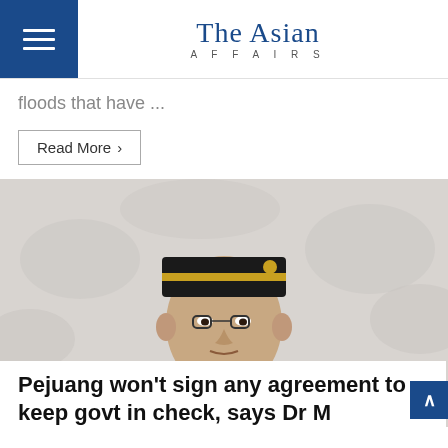The Asian AFFAIRS
floods that have ...
Read More >
[Figure (photo): An elderly Malaysian statesman wearing a black songkok hat and a white military-style uniform with gold epaulettes, medals, and a sash of red, yellow and black. He is posed formally in front of a white ornate wall background.]
MALAYSIA
Pejuang won't sign any agreement to keep govt in check, says Dr M